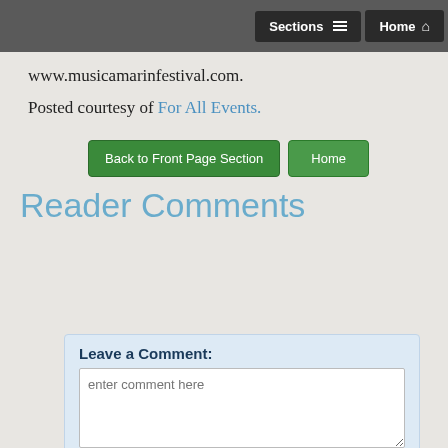Sections  Home
www.musicamarinfestival.com.
Posted courtesy of For All Events.
Back to Front Page Section  Home
Reader Comments
Leave a Comment:
enter comment here
Full Name:
Name as you would like it to appear